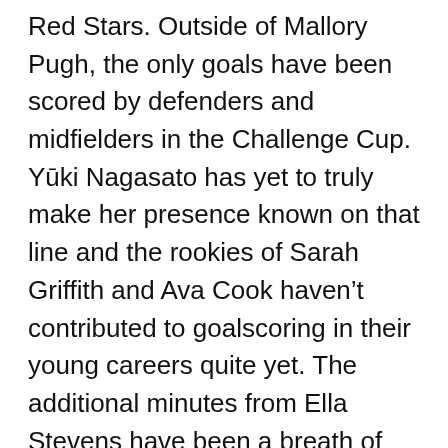Red Stars. Outside of Mallory Pugh, the only goals have been scored by defenders and midfielders in the Challenge Cup. Yūki Nagasato has yet to truly make her presence known on that line and the rookies of Sarah Griffith and Ava Cook haven't contributed to goalscoring in their young careers quite yet. The additional minutes from Ella Stevens have been a breath of fresh air this year, and even though she hasn't scored, her ability to get the ball to the goal scorers has been outstanding. The injuries to Watt and Hill have been an issue when it comes to creating goals, but Hill's return is imminent and could come as soon as tonight.
Overall, the Challenge Cup had its highs and lows, but I am beyond excited to watch this club this season and show us what they